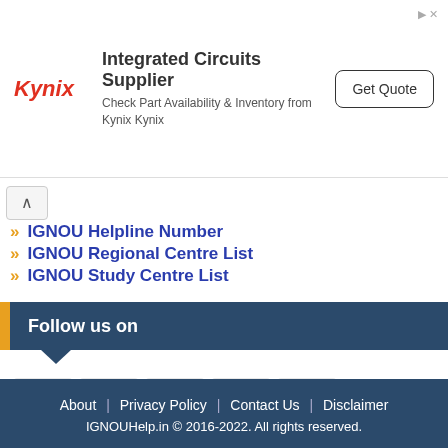[Figure (other): Kynix advertisement banner: logo on left, text 'Integrated Circuits Supplier / Check Part Availability & Inventory from Kynix Kynix', and 'Get Quote' button on right]
IGNOU Helpline Number
IGNOU Regional Centre List
IGNOU Study Centre List
Follow us on
[Figure (other): Social media icons row: Facebook, Twitter, LinkedIn, Instagram, YouTube]
About  |  Privacy Policy  |  Contact Us  |  Disclaimer
IGNOUHelp.in © 2016-2022. All rights reserved.